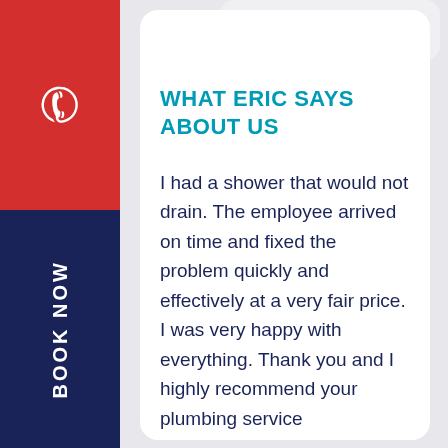WHAT ERIC SAYS ABOUT US
I had a shower that would not drain. The employee arrived on time and fixed the problem quickly and effectively at a very fair price. I was very happy with everything. Thank you and I highly recommend your plumbing service